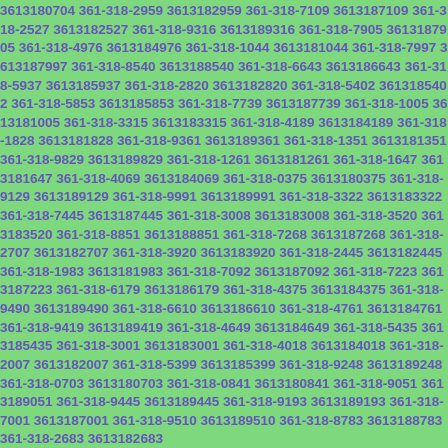3613180704 361-318-2959 3613182959 361-318-7109 3613187109 361-318-2527 3613182527 361-318-9316 3613189316 361-318-7905 3613187905 361-318-4976 3613184976 361-318-1044 3613181044 361-318-7997 3613187997 361-318-8540 3613188540 361-318-6643 3613186643 361-318-5937 3613185937 361-318-2820 3613182820 361-318-5402 3613185402 361-318-5853 3613185853 361-318-7739 3613187739 361-318-1005 3613181005 361-318-3315 3613183315 361-318-4189 3613184189 361-318-1828 3613181828 361-318-9361 3613189361 361-318-1351 3613181351 361-318-9829 3613189829 361-318-1261 3613181261 361-318-1647 3613181647 361-318-4069 3613184069 361-318-0375 3613180375 361-318-9129 3613189129 361-318-9991 3613189991 361-318-3322 3613183322 361-318-7445 3613187445 361-318-3008 3613183008 361-318-3520 3613183520 361-318-8851 3613188851 361-318-7268 3613187268 361-318-2707 3613182707 361-318-3920 3613183920 361-318-2445 3613182445 361-318-1983 3613181983 361-318-7092 3613187092 361-318-7223 3613187223 361-318-6179 3613186179 361-318-4375 3613184375 361-318-9490 3613189490 361-318-6610 3613186610 361-318-4761 3613184761 361-318-9419 3613189419 361-318-4649 3613184649 361-318-5435 3613185435 361-318-3001 3613183001 361-318-4018 3613184018 361-318-2007 3613182007 361-318-5399 3613185399 361-318-9248 3613189248 361-318-0703 3613180703 361-318-0841 3613180841 361-318-9051 3613189051 361-318-9445 3613189445 361-318-9193 3613189193 361-318-7001 3613187001 361-318-9510 3613189510 361-318-8783 3613188783 361-318-2683 3613182683